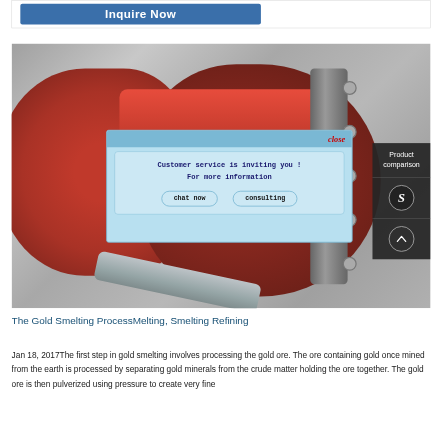[Figure (screenshot): Blue 'Inquire Now' button at the top of the page]
[Figure (photo): Industrial red pipe/flange assembly mounted on a concrete wall, with a chat popup overlay dialog in the center]
Customer service is inviting you ! For more information
chat now   consulting
close
Product comparison
The Gold Smelting ProcessMelting, Smelting Refining
Jan 18, 2017The first step in gold smelting involves processing the gold ore. The ore containing gold once mined from the earth is processed by separating gold minerals from the crude matter holding the ore together. The gold ore is then pulverized using pressure to create very fine